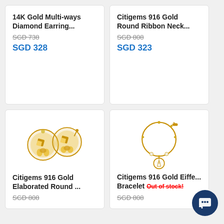14K Gold Multi-ways Diamond Earring...
SGD 738
SGD 328
Citigems 916 Gold Round Ribbon Neck...
SGD 808
SGD 323
[Figure (photo): Citigems 916 Gold Elaborated Round earrings in gold]
Citigems 916 Gold Elaborated Round ...
SGD 808
[Figure (photo): Citigems 916 Gold Eiffel Bracelet, a thin gold bangle with a circular charm pendant]
Citigems 916 Gold Eiffe... Bracelet
Out of stock!
SGD 808